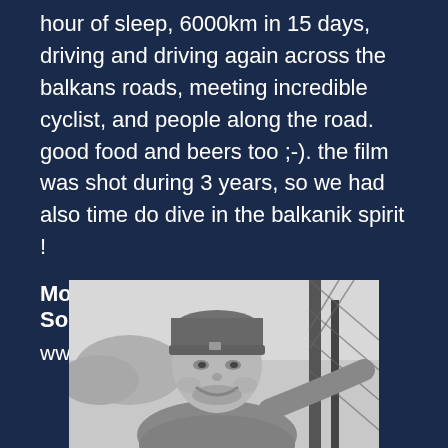hour of sleep, 6000km in 15 days, driving and driving again across the balkans roads, meeting incredible cyclist, and people along the road. good food and beers too ;-). the film was shot during 3 years, so we had also time do dive in the balkanik spirit !
More About Antonin Michaud-Soret
www.ahstudio.fr
[Figure (photo): Black and white portrait photo of a smiling man wearing a beanie hat, outdoors, reaching toward something with his arm extended.]